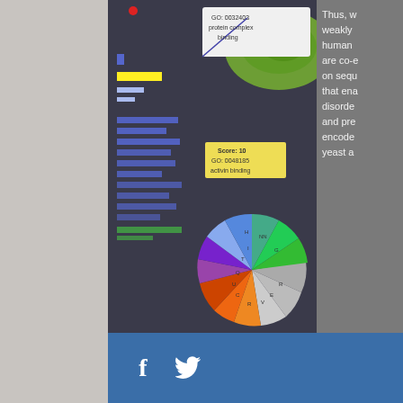[Figure (screenshot): ROSTLAB scientific visualization tool screenshot showing GO annotations (GO:0032403 protein complex binding, GO:0048185 activin binding), a colored wheel chart of amino acid properties, blue bar charts, and a red/green/white heatmap. ROSTLAB logo visible at bottom.]
Thus, w weakly human are co-e on sequ that ena disorde and pre encode yeast a
| Field | Value |
| --- | --- |
| DOI | 10.1039 |
| Alternate Journal | Mol Bio |
| PubMed ID | 244574 |
f  (Twitter bird icon)